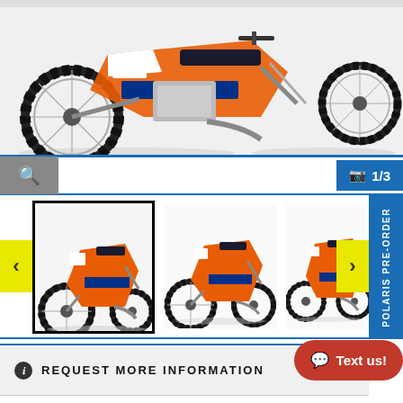[Figure (photo): Main large motorcycle image - KTM dirt bike, orange and white, shown from the side. Partial view cropped at top.]
1/3
[Figure (photo): Thumbnail strip showing three KTM dirt bikes in orange/white: first thumbnail is selected (black border), second and third are unselected. Navigation arrows on either side.]
POLARIS PRE-ORDER
REQUEST MORE INFORMATION
First Name
Last Name
Email - ex@mple.com
Phone Number - (___) ___-____
Subscribe to Newsletter
Text us!